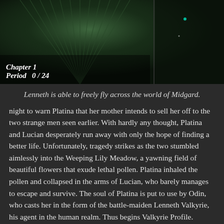[Figure (screenshot): Screenshot from Valkyrie Profile video game showing a dark forest/world map view. Text overlay reads 'Chapter 1' and 'Period  0 / 24' in italic bold white font at bottom left.]
Lenneth is able to freely fly across the world of Midgard.
night to warn Platina that her mother intends to sell her off to the two strange men seen earlier. With hardly any thought, Platina and Lucian desperately run away with only the hope of finding a better life. Unfortunately, tragedy strikes as the two stumbled aimlessly into the Weeping Lily Meadow, a yawning field of beautiful flowers that exude lethal pollen. Platina inhaled the pollen and collapsed in the arms of Lucian, who barely manages to escape and survive. The soul of Platina is put to use by Odin, who casts her in the form of the battle-maiden Lenneth Valkyrie, his agent in the human realm. Thus begins Valkyrie Profile.
Ragnarok: The Beginning of the End of the World